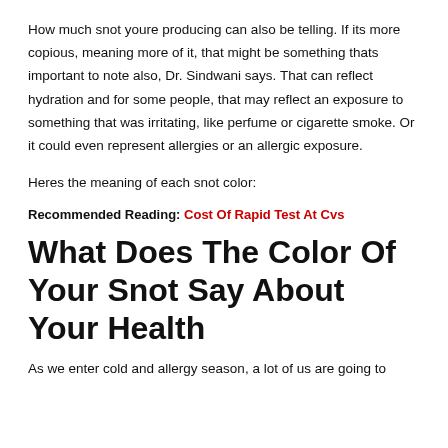How much snot youre producing can also be telling. If its more copious, meaning more of it, that might be something thats important to note also, Dr. Sindwani says. That can reflect hydration and for some people, that may reflect an exposure to something that was irritating, like perfume or cigarette smoke. Or it could even represent allergies or an allergic exposure.
Heres the meaning of each snot color:
Recommended Reading: Cost Of Rapid Test At Cvs
What Does The Color Of Your Snot Say About Your Health
As we enter cold and allergy season, a lot of us are going to